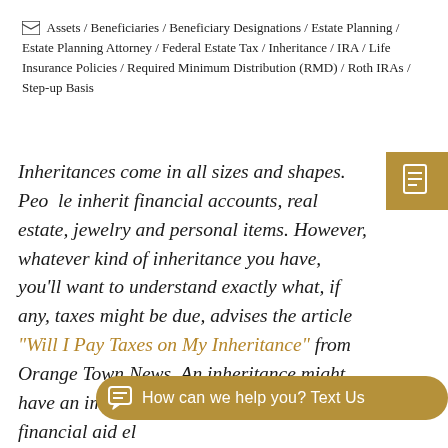Assets / Beneficiaries / Beneficiary Designations / Estate Planning / Estate Planning Attorney / Federal Estate Tax / Inheritance / IRA / Life Insurance Policies / Required Minimum Distribution (RMD) / Roth IRAs / Step-up Basis
Inheritances come in all sizes and shapes. People inherit financial accounts, real estate, jewelry and personal items. However, whatever kind of inheritance you have, you'll want to understand exactly what, if any, taxes might be due, advises the article "Will I Pay Taxes on My Inheritance" from Orange Town News. An inheritance might have an impact on Medicare premiums and financial aid eligibility.

Let's look at the different assets and how they